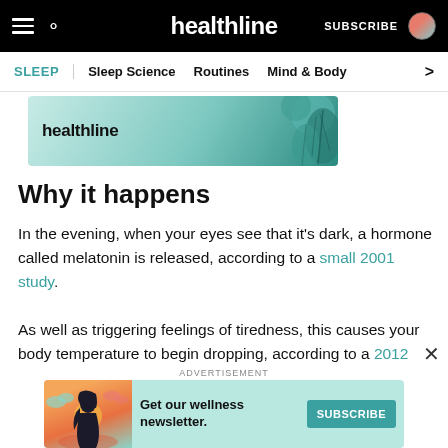healthline — SUBSCRIBE
SLEEP | Sleep Science | Routines | Mind & Body
[Figure (illustration): Healthline banner advertisement with teal background and decorative plant illustration]
Why it happens
In the evening, when your eyes see that it's dark, a hormone called melatonin is released, according to a small 2001 study.
As well as triggering feelings of tiredness, this causes your body temperature to begin dropping, according to a 2012 research review
[Figure (illustration): Healthline wellness newsletter subscription advertisement with illustrated woman and teal Subscribe button]